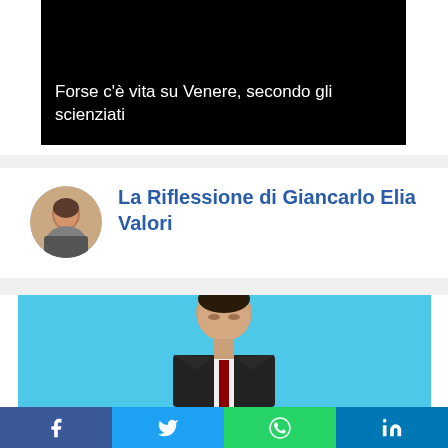[Figure (photo): Black image with white text overlay: article thumbnail for Venus life story]
Forse c'è vita su Venere, secondo gli scienziati
[Figure (photo): Round avatar photo of Giancarlo Elia Valori next to section title]
La Riflessione di Giancarlo Elia Valori
[Figure (photo): Photo of a man in dark suit against light blue background]
f  [twitter bird]  [whatsapp]  in